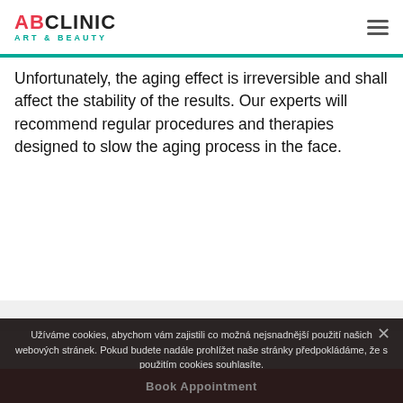ABCLINIC ART & BEAUTY
Unfortunately, the aging effect is irreversible and shall affect the stability of the results. Our experts will recommend regular procedures and therapies designed to slow the aging process in the face.
Užíváme cookies, abychom vám zajistili co možná nejsnadnější použití našich webových stránek. Pokud budete nadále prohlížet naše stránky předpokládáme, že s použitím cookies souhlasíte.
Souhlasím
Book Appointment